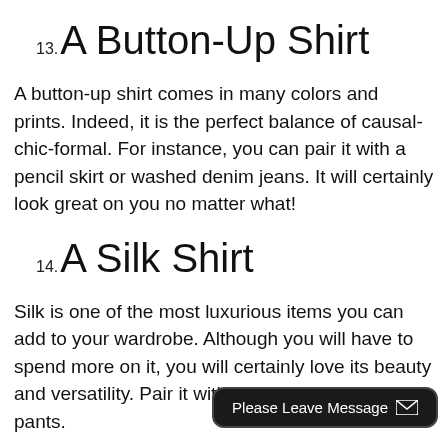13. A Button-Up Shirt
A button-up shirt comes in many colors and prints. Indeed, it is the perfect balance of causal-chic-formal. For instance, you can pair it with a pencil skirt or washed denim jeans. It will certainly look great on you no matter what!
14. A Silk Shirt
Silk is one of the most luxurious items you can add to your wardrobe. Although you will have to spend more on it, you will certainly love its beauty and versatility. Pair it with a skirt of straight black pants.
15. Lounge Pants
Please Leave Message